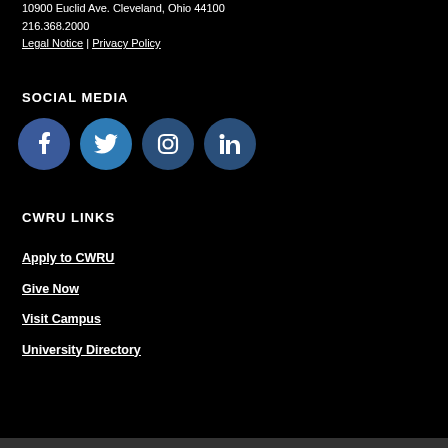10900 Euclid Ave. Cleveland, Ohio 44100
216.368.2000
Legal Notice | Privacy Policy
SOCIAL MEDIA
[Figure (illustration): Four social media icon circles: Facebook (blue), Twitter (blue), Instagram (dark blue), LinkedIn (dark blue), each with white icons]
CWRU LINKS
Apply to CWRU
Give Now
Visit Campus
University Directory